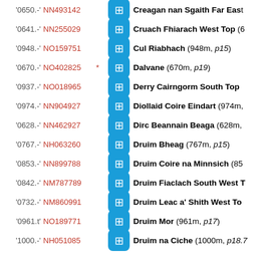'0650.-' NN493142 Creagan nan Sgaith Far East Top
'0641.-' NN255029 Cruach Fhiarach West Top (6...)
'0948.-' NO159751 Cul Riabhach (948m, p15)
'0670.-' NO402825 * Dalvane (670m, p19)
'0937.-' NO018965 Derry Cairngorm South Top
'0974.-' NN904927 Diollaid Coire Eindart (974m,...)
'0628.-' NN462927 Dirc Beannain Beaga (628m,...)
'0767.-' NH063260 Druim Bheag (767m, p15)
'0853.-' NN899788 Druim Coire na Minnsich (85...)
'0842.-' NM787789 Druim Fiaclach South West T...
'0732.-' NM860991 Druim Leac a' Shith West To...
'0961.t' NO189771 Druim Mor (961m, p17)
'1000.-' NH051085 Druim na Ciche (1000m, p18.7...)